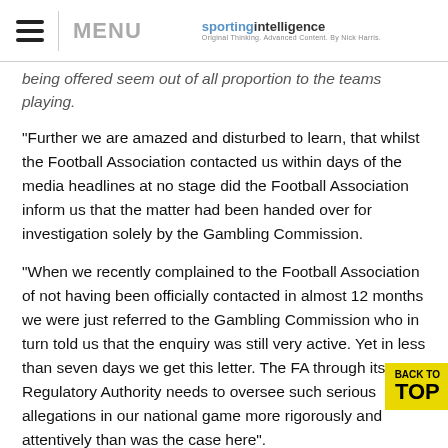MENU | sporting intelligence
being offered seem out of all proportion to the teams playing.
"Further we are amazed and disturbed to learn, that whilst the Football Association contacted us within days of the media headlines at no stage did the Football Association inform us that the matter had been handed over for investigation solely by the Gambling Commission.
"When we recently complained to the Football Association of not having been officially contacted in almost 12 months we were just referred to the Gambling Commission who in turn told us that the enquiry was still very active. Yet in less than seven days we get this letter. The FA through its Regulatory Authority needs to oversee such serious allegations in our national game more rigorously and attentively than was the case here".
Rovers added they would write to Triesman "seeking answers to certain questions and asking how these complaints can be handled better in future considering that no one in the club has